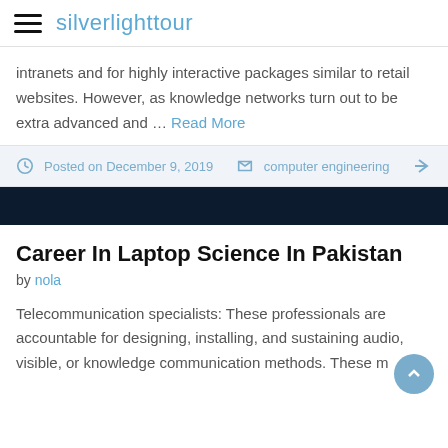silverlighttour
intranets and for highly interactive packages similar to retail websites. However, as knowledge networks turn out to be extra advanced and … Read More
Posted on December 9, 2019   computer engineering
Career In Laptop Science In Pakistan
by nola
Telecommunication specialists: These professionals are accountable for designing, installing, and sustaining audio, visible, or knowledge communication methods. These m